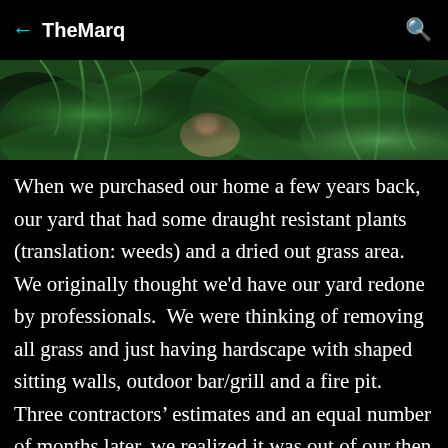← TheMarq 🔍
[Figure (photo): Close-up photograph showing green wispy hair or plant-like material around a person's neck/shoulder area with skin visible in center]
When we purchased our home a few years back, our yard that had some draught resistant plants (translation: weeds) and a dried out grass area. We originally thought we'd have our yard redone by professionals.  We were thinking of removing all grass and just having hardscape with shaped sitting walls, outdoor bar/grill and a fire pit. Three contractors' estimates and an equal number of months later, we realized it was out of our then budget.